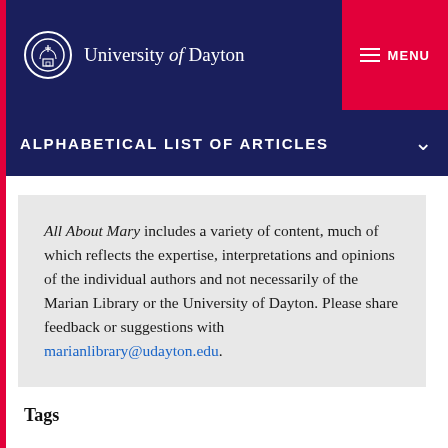University of Dayton
ALPHABETICAL LIST OF ARTICLES
All About Mary includes a variety of content, much of which reflects the expertise, interpretations and opinions of the individual authors and not necessarily of the Marian Library or the University of Dayton. Please share feedback or suggestions with marianlibrary@udayton.edu.
Tags